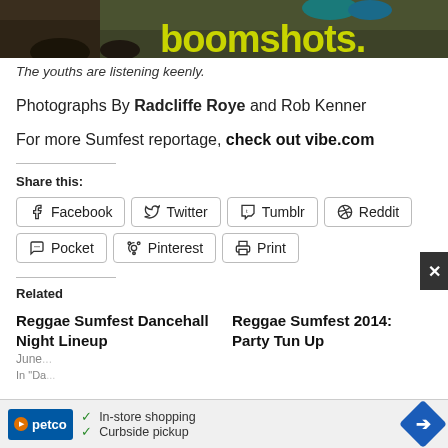[Figure (photo): Top portion of a boomshots.com page showing a photo of grass/ground with the word 'boomshots.' in large yellow/green text overlaid]
The youths are listening keenly.
Photographs By Radcliffe Roye and Rob Kenner
For more Sumfest reportage, check out vibe.com
Share this:
Facebook  Twitter  Tumblr  Reddit  Pocket  Pinterest  Print
Related
Reggae Sumfest Dancehall Night Lineup
Reggae Sumfest 2014: Party Tun Up
[Figure (screenshot): Petco advertisement banner at bottom: In-store shopping, Curbside pickup]